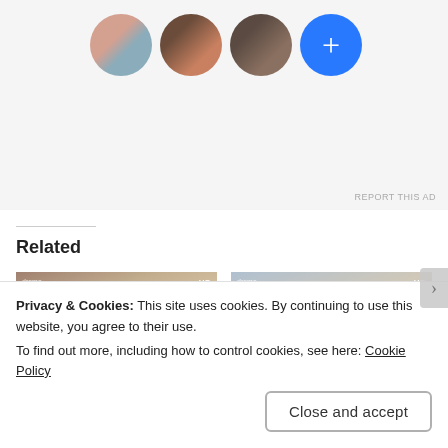[Figure (screenshot): Ad area showing four circular avatars (three person photos and one blue plus button) on a light gray background with REPORT THIS AD text at bottom right]
REPORT THIS AD
Related
[Figure (screenshot): Thumbnail for Backstreet Rookie Ep 6 Recap showing two Korean drama actors in close profile]
Backstreet Rookie Ep 6 Recap (and everyone
[Figure (screenshot): Thumbnail for Backstreet Rookie Ep 13 Recap showing two Korean drama actors facing each other]
Backstreet Rookie Ep 13 Recap (and romance
Privacy & Cookies: This site uses cookies. By continuing to use this website, you agree to their use.
To find out more, including how to control cookies, see here: Cookie Policy
Close and accept